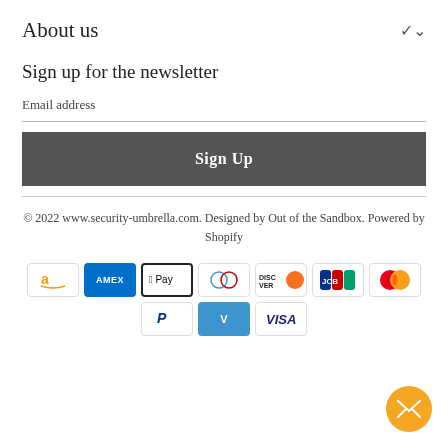About us
Sign up for the newsletter
Email address
Sign Up
© 2022 www.security-umbrella.com. Designed by Out of the Sandbox. Powered by Shopify
[Figure (infographic): Payment method icons: Amazon, American Express, Apple Pay, Diners Club, Discover, JCB, Mastercard, PayPal, Venmo, Visa]